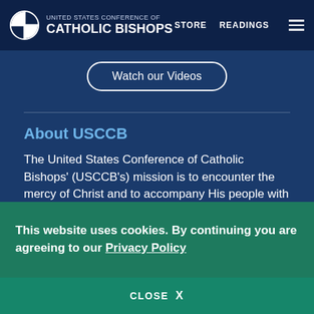UNITED STATES CONFERENCE OF CATHOLIC BISHOPS | STORE | READINGS
Watch our Videos
About USCCB
The United States Conference of Catholic Bishops' (USCCB's) mission is to encounter the mercy of Christ and to accompany His people with joy.
LEARN MORE
Topics
This website uses cookies. By continuing you are agreeing to our Privacy Policy
CLOSE X